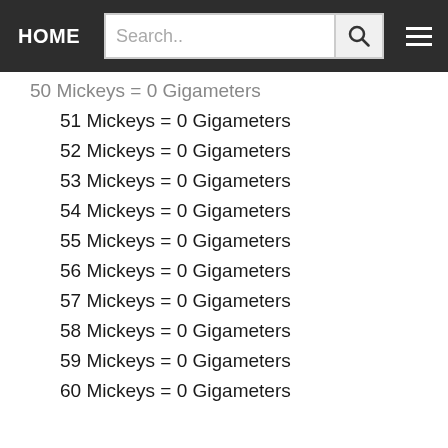HOME | Search..
50 Mickeys = 0 Gigameters
51 Mickeys = 0 Gigameters
52 Mickeys = 0 Gigameters
53 Mickeys = 0 Gigameters
54 Mickeys = 0 Gigameters
55 Mickeys = 0 Gigameters
56 Mickeys = 0 Gigameters
57 Mickeys = 0 Gigameters
58 Mickeys = 0 Gigameters
59 Mickeys = 0 Gigameters
60 Mickeys = 0 Gigameters